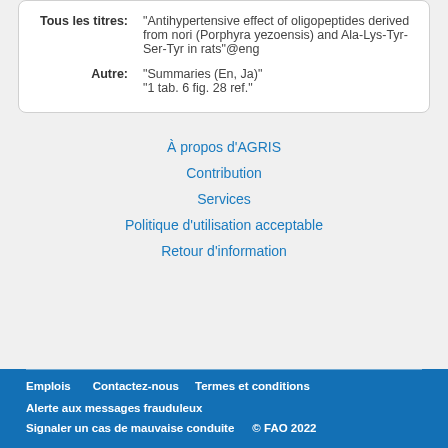| Tous les titres: | "Antihypertensive effect of oligopeptides derived from nori (Porphyra yezoensis) and Ala-Lys-Tyr-Ser-Tyr in rats"@eng |
| Autre: | "Summaries (En, Ja)"
"1 tab. 6 fig. 28 ref." |
À propos d'AGRIS
Contribution
Services
Politique d'utilisation acceptable
Retour d'information
Emplois   Contactez-nous   Termes et conditions   Alerte aux messages frauduleux   Signaler un cas de mauvaise conduite   © FAO 2022